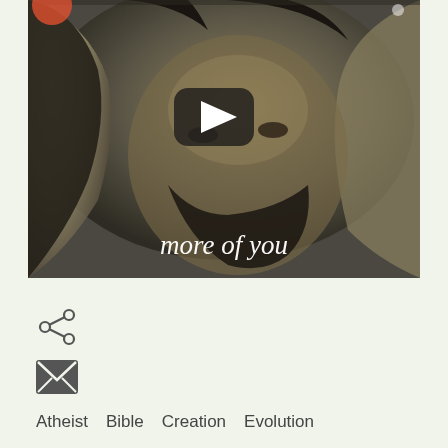[Figure (screenshot): Video thumbnail showing a man with a hood and beard (depicting Jesus) with a YouTube-style play button overlay and subtitle text 'more of you' at the bottom]
[Figure (illustration): Share icon (three dots connected by lines)]
[Figure (illustration): Email/envelope icon in dark square]
Atheist   Bible   Creation   Evolution